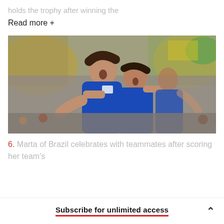holds the trophy after winning the
Read more +
[Figure (photo): Marta of Brazil celebrates with teammates, players in blue Brazil jerseys embracing and celebrating on the field with crowd in background]
6. Marta of Brazil celebrates with teammates after scoring her team's
Subscribe for unlimited access